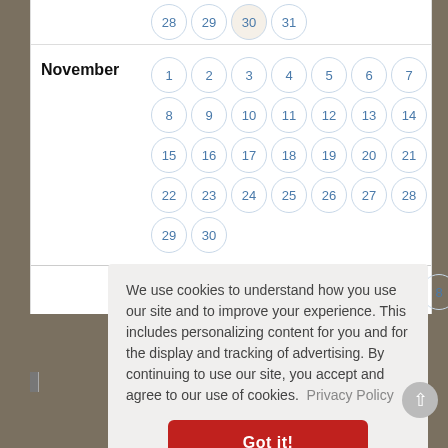[Figure (other): Calendar widget showing end of October (28–31), November (1–30), and start of next month (1–9), with a cookie consent overlay popup containing text and a Got it! button.]
We use cookies to understand how you use our site and to improve your experience. This includes personalizing content for you and for the display and tracking of advertising. By continuing to use our site, you accept and agree to our use of cookies. Privacy Policy
Got it!